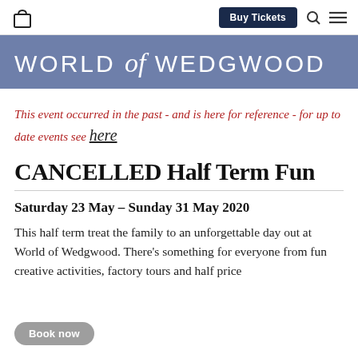World of Wedgwood — navigation bar with bag icon, Buy Tickets button, search icon, menu icon
WORLD of WEDGWOOD
This event occurred in the past - and is here for reference - for up to date events see here
CANCELLED Half Term Fun
Saturday 23 May – Sunday 31 May 2020
This half term treat the family to an unforgettable day out at World of Wedgwood. There's something for everyone from fun creative activities, factory tours and half price